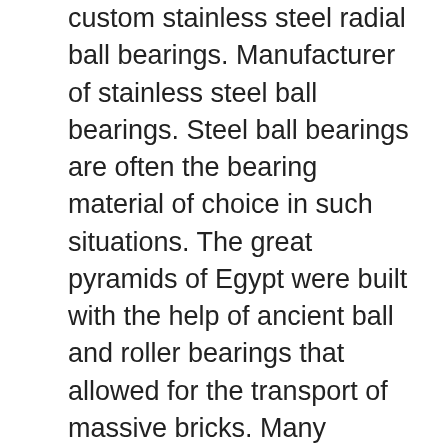custom stainless steel radial ball bearings. Manufacturer of stainless steel ball bearings. Steel ball bearings are often the bearing material of choice in such situations. The great pyramids of Egypt were built with the help of ancient ball and roller bearings that allowed for the transport of massive bricks. Many bearings in high-cycle industrial operations need periodic lubrication and cleaning, and many require occasional adjustment, such as pre-load adjustment, to minimise the effects of wear. The first plain and rolling-element bearings were wood closely followed by bronze Over their history bearings have been made of many materials including ceramic , sapphire , glass , steel , bronze , other metals and plastic (e.g., nylon , polyoxymethylene , polytetrafluoroethylene , and UHMWPE ) which are all used today. SKF ball bearings come in a variety of types, designs, sizes, series, variants, and materials. Manufactured using high